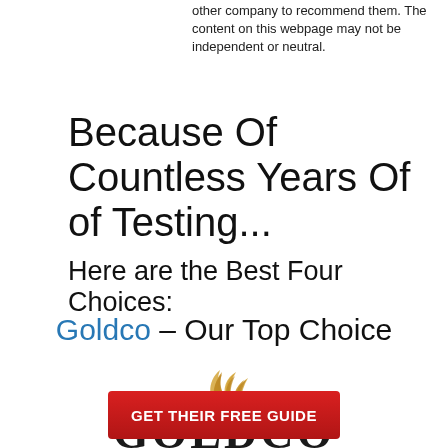other company to recommend them. The content on this webpage may not be independent or neutral.
Because Of Countless Years Of of Testing...
Here are the Best Four Choices:
Goldco – Our Top Choice
[Figure (logo): Goldco logo with golden flame/swoosh above bold GOLDCO text with registered trademark symbol]
GET THEIR FREE GUIDE